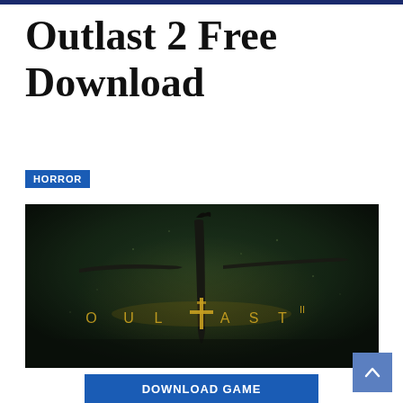Outlast 2 Free Download
HORROR
[Figure (screenshot): Outlast 2 game promotional image. Dark background scene showing a figure with outstretched arms in cruciform pose against a dark green/black atmospheric background, with glowing gold 'OUTLAST II' text logo at the bottom center.]
DOWNLOAD GAME